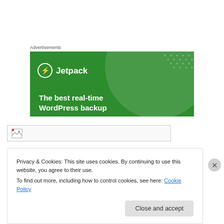Advertisements
[Figure (illustration): Jetpack advertisement banner with green background, circular graphic, dot pattern, Jetpack logo, and tagline 'The best real-time WordPress backup']
[Figure (other): Broken image placeholder in a bordered box]
Privacy & Cookies: This site uses cookies. By continuing to use this website, you agree to their use.
To find out more, including how to control cookies, see here: Cookie Policy
Close and accept